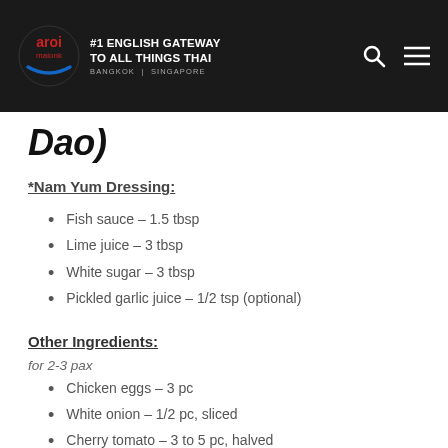#1 ENGLISH GATEWAY TO ALL THINGS THAI BANGKOK | SINGAPORE
Dao)
*Nam Yum Dressing:
Fish sauce – 1.5 tbsp
Lime juice – 3 tbsp
White sugar – 3 tbsp
Pickled garlic juice – 1/2 tsp (optional)
Other Ingredients:
for 2-3 pax
Chicken eggs – 3 pc
White onion – 1/2 pc, sliced
Cherry tomato – 3 to 5 pc, halved